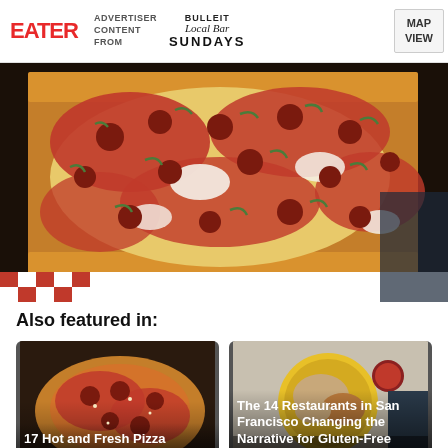EATER | ADVERTISER CONTENT FROM | BULLEIT Local Bar SUNDAYS | MAP VIEW
[Figure (photo): Close-up of a Detroit-style square pizza with tomato sauce, mozzarella, pepperoni, and fresh herbs on a dark baking tray]
Also featured in:
[Figure (photo): Photo of pepperoni pizza with parmesan cheese]
17 Hot and Fresh Pizza Restaurants in San Francisco
[Figure (photo): Photo of food on a yellow plate with dipping sauce]
The 14 Restaurants in San Francisco Changing the Narrative for Gluten-Free Diners